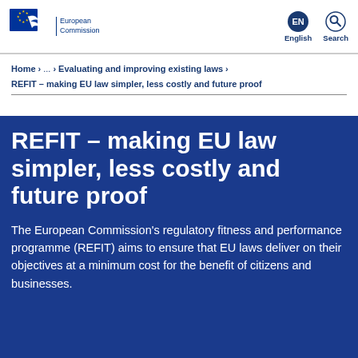European Commission | EN English | Search
Home > ... > Evaluating and improving existing laws >
REFIT – making EU law simpler, less costly and future proof
REFIT – making EU law simpler, less costly and future proof
The European Commission's regulatory fitness and performance programme (REFIT) aims to ensure that EU laws deliver on their objectives at a minimum cost for the benefit of citizens and businesses.